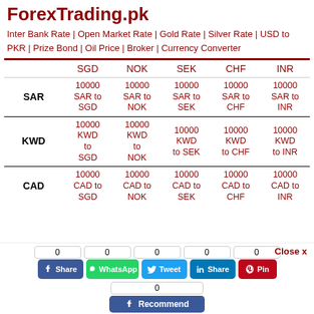ForexTrading.pk
Inter Bank Rate | Open Market Rate | Gold Rate | Silver Rate | USD to PKR | Prize Bond | Oil Price | Broker | Currency Converter
|  | SGD | NOK | SEK | CHF | INR |
| --- | --- | --- | --- | --- | --- |
| SAR | 10000 SAR to SGD | 10000 SAR to NOK | 10000 SAR to SEK | 10000 SAR to CHF | 10000 SAR to INR |
| KWD | 10000 KWD to SGD | 10000 KWD to NOK | 10000 KWD to SEK | 10000 KWD to CHF | 10000 KWD to INR |
| CAD | 10000 CAD to SGD | 10000 CAD to NOK | 10000 CAD to SEK | 10000 CAD to CHF | 10000 CAD to INR |